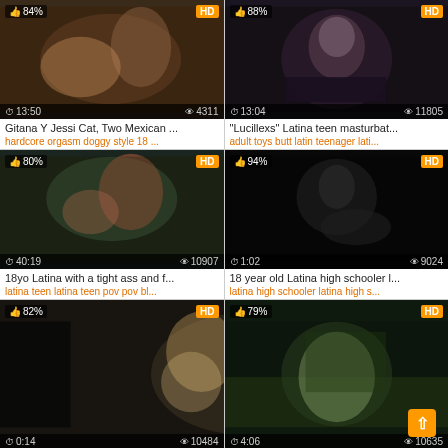[Figure (screenshot): Video thumbnail grid showing 6 video thumbnails in a 2-column layout with rating percentages, HD badges, duration, and view counts]
84% | HD | 13:50 | 4311 views
Gitana Y Jessi Cat, Two Mexican ...
hardcore orgasm doggy style 18 ...
88% | HD | 13:04 | 11805 views
"Lucillexs" Latina teen masturbat...
adult toys butt latin teenager lati...
80% | HD | 40:19 | 10907 views
18yo Latina with a tight ass and f...
latina teen latina teen pov pov bl...
94% | HD | 1:02 | 9024 views
18 year old Latina high schooler l...
latina high schooler latina high s...
82% | HD | 0:14 | 10484 views
79% | HD | 4:06 | 10635 views